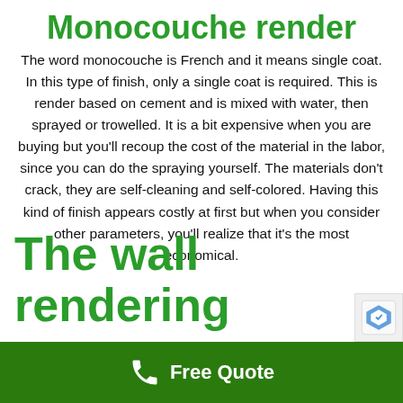Monocouche render
The word monocouche is French and it means single coat. In this type of finish, only a single coat is required. This is render based on cement and is mixed with water, then sprayed or trowelled. It is a bit expensive when you are buying but you'll recoup the cost of the material in the labor, since you can do the spraying yourself. The materials don't crack, they are self-cleaning and self-colored. Having this kind of finish appears costly at first but when you consider other parameters, you'll realize that it's the most economical.
The wall rendering
Free Quote